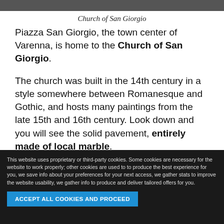[Figure (photo): Top portion of a photo of the Church of San Giorgio, showing a stone facade]
Church of San Giorgio
Piazza San Giorgio, the town center of Varenna, is home to the Church of San Giorgio.
The church was built in the 14th century in a style somewhere between Romanesque and Gothic, and hosts many paintings from the late 15th and 16th century. Look down and you will see the solid pavement, entirely made of local marble.
You can head toward the lake and walk along the narrow streets branching off from Piazza San Giorgio. Be careful when walking: their flooring is
This website uses proprietary or third-party cookies. Some cookies are necessary for the website to work properly; other cookies are used to to produce the best experience for you, we save info about your preferences for your next access, we gather stats to improve the website usability, we gather info to produce and deliver tailored offers for you.
ACCEPT ALL COOKIES AND PROCEED